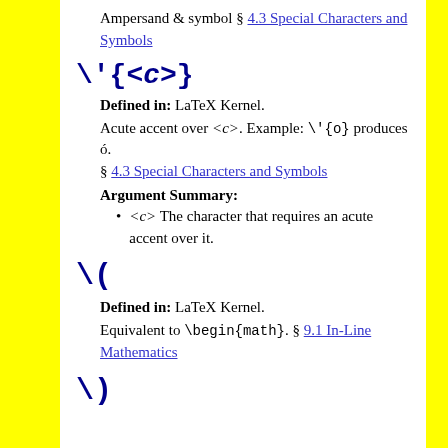Ampersand & symbol § 4.3 Special Characters and Symbols
\'{<c>}
Defined in: LaTeX Kernel.
Acute accent over <c>. Example: \'{o} produces ó. § 4.3 Special Characters and Symbols
Argument Summary:
<c> The character that requires an acute accent over it.
\(
Defined in: LaTeX Kernel.
Equivalent to \begin{math}. § 9.1 In-Line Mathematics
\)